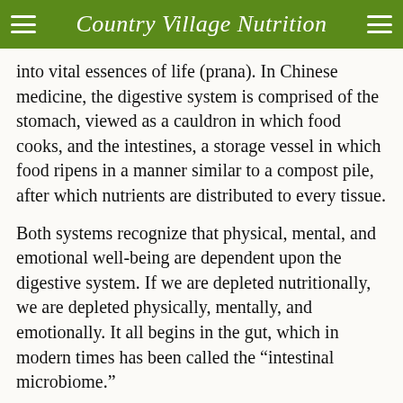Country Village Nutrition
into vital essences of life (prana). In Chinese medicine, the digestive system is comprised of the stomach, viewed as a cauldron in which food cooks, and the intestines, a storage vessel in which food ripens in a manner similar to a compost pile, after which nutrients are distributed to every tissue.
Both systems recognize that physical, mental, and emotional well-being are dependent upon the digestive system. If we are depleted nutritionally, we are depleted physically, mentally, and emotionally. It all begins in the gut, which in modern times has been called the “intestinal microbiome.”
The Intestinal Microbiome
The intestinal microbiome is made up of a host of bacteria, and from Between 2013 and 2015, a new...